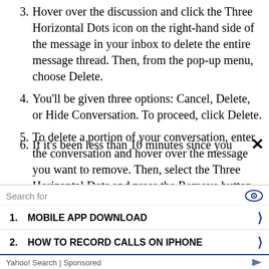3. Hover over the discussion and click the Three Horizontal Dots icon on the right-hand side of the message in your inbox to delete the entire message thread. Then, from the pop-up menu, choose Delete.
4. You'll be given three options: Cancel, Delete, or Hide Conversation. To proceed, click Delete.
5. To delete a portion of your conversation, enter the conversation and hover over the message you want to remove. Then, select the Three Horizontal Dots and press the Remove button.
6. If it's been less than 10 minutes since you
[Figure (screenshot): Advertisement overlay with search bar showing 'Search for' with eye icon, two sponsored search results: 1. MOBILE APP DOWNLOAD, 2. HOW TO RECORD CALLS ON IPHONE, Yahoo! Search Sponsored footer with logo, and X close button]